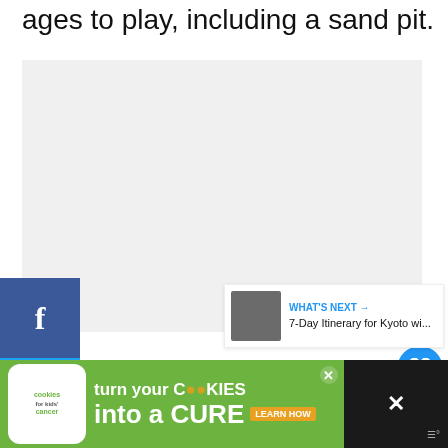ages to play, including a sand pit.
[Figure (photo): Large light-gray image placeholder area]
302
SHARES
[Figure (infographic): Social share sidebar with Facebook, Twitter, Pinterest buttons]
[Figure (infographic): Right-side floating heart (306) and share buttons]
[Figure (infographic): What's Next widget: 7-Day Itinerary for Kyoto wi...]
[Figure (infographic): Ad banner: cookies for kids cancer - turn your COOKIES into a CURE LEARN HOW]